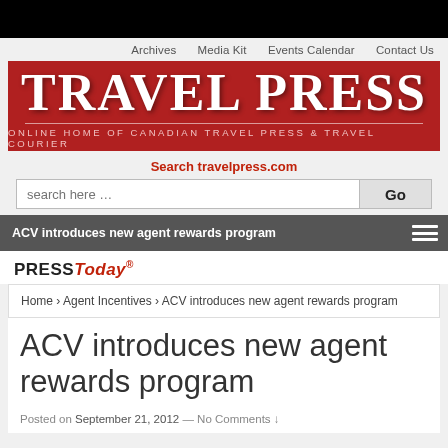Archives   Media Kit   Events Calendar   Contact Us
[Figure (logo): Travel Press logo — red banner with 'TRAVEL PRESS' in large white serif font, subtitle 'ONLINE HOME OF CANADIAN TRAVEL PRESS & TRAVEL COURIER']
Search travelpress.com
ACV introduces new agent rewards program
PRESS Today ®
Home › Agent Incentives › ACV introduces new agent rewards program
ACV introduces new agent rewards program
Posted on September 21, 2012 — No Comments ↓